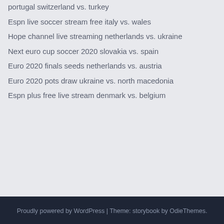portugal switzerland vs. turkey
Espn live soccer stream free italy vs. wales
Hope channel live streaming netherlands vs. ukraine
Next euro cup soccer 2020 slovakia vs. spain
Euro 2020 finals seeds netherlands vs. austria
Euro 2020 pots draw ukraine vs. north macedonia
Espn plus free live stream denmark vs. belgium
Proudly powered by WordPress | Theme: storybook by OdieThemes.